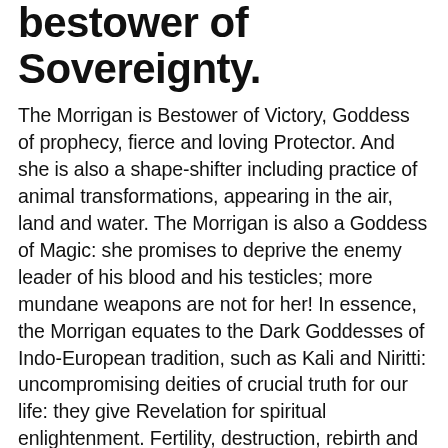bestower of Sovereignty.
The Morrigan is Bestower of Victory, Goddess of prophecy, fierce and loving Protector. And she is also a shape-shifter including practice of animal transformations, appearing in the air, land and water. The Morrigan is also a Goddess of Magic: she promises to deprive the enemy leader of his blood and his testicles; more mundane weapons are not for her! In essence, the Morrigan equates to the Dark Goddesses of Indo-European tradition, such as Kali and Niritti: uncompromising deities of crucial truth for our life: they give Revelation for spiritual enlightenment. Fertility, destruction, rebirth and life-purpose – these are key gifts of the Dark